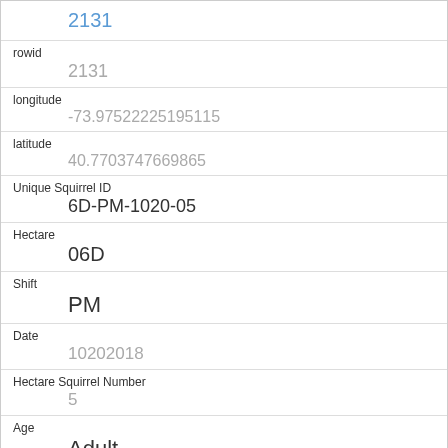2131
| rowid | 2131 |
| longitude | -73.97522225195115 |
| latitude | 40.7703747669865 |
| Unique Squirrel ID | 6D-PM-1020-05 |
| Hectare | 06D |
| Shift | PM |
| Date | 10202018 |
| Hectare Squirrel Number | 5 |
| Age | Adult |
| Primary Fur Color | Gray |